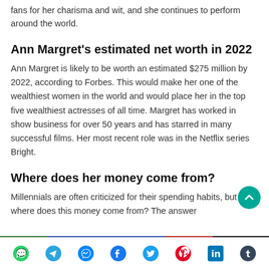fans for her charisma and wit, and she continues to perform around the world.
Ann Margret's estimated net worth in 2022
Ann Margret is likely to be worth an estimated $275 million by 2022, according to Forbes. This would make her one of the wealthiest women in the world and would place her in the top five wealthiest actresses of all time. Margret has worked in show business for over 50 years and has starred in many successful films. Her most recent role was in the Netflix series Bright.
Where does her money come from?
Millennials are often criticized for their spending habits, but where does this money come from? The answer
[Figure (other): Colored horizontal bar (green, blue, red, dark) above social sharing icons row]
[Figure (other): Social sharing icons bar with WhatsApp, Telegram, Messenger, Facebook, Twitter, Pinterest, LinkedIn, Tumblr icons]